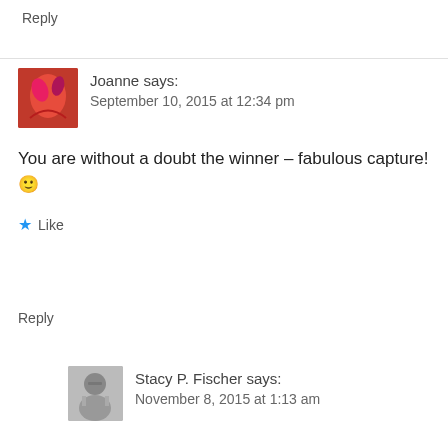Reply
Joanne says: September 10, 2015 at 12:34 pm
You are without a doubt the winner – fabulous capture! 🙂
★ Like
Reply
Stacy P. Fischer says: November 8, 2015 at 1:13 am